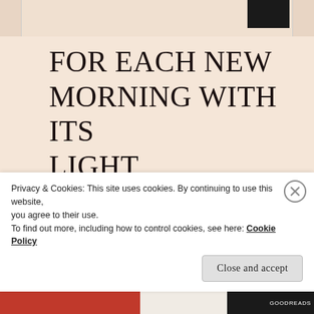[Figure (illustration): Top strip showing partial image with dark rectangle on right side, cropped book or artwork image]
FOR EACH NEW MORNING WITH ITS LIGHT, FOR REST AND SHELTER OF THE NIGHT,
Privacy & Cookies: This site uses cookies. By continuing to use this website, you agree to their use.
To find out more, including how to control cookies, see here: Cookie Policy
Close and accept
[Figure (screenshot): Bottom strip with orange and dark book cover elements]